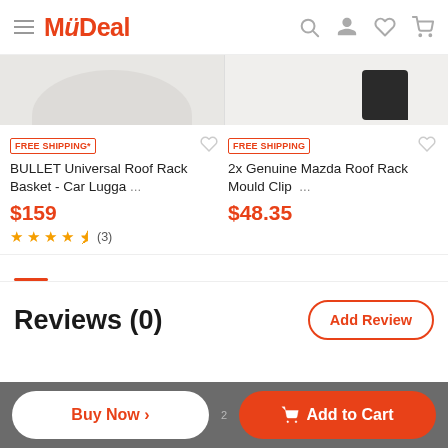MyDeal
[Figure (screenshot): Product images for two roof rack items — left shows a white plate/bowl shape, right shows a dark object on white background]
FREE SHIPPING*
BULLET Universal Roof Rack Basket - Car Lugga ...
$159
★★★★½ (3)
FREE SHIPPING
2x Genuine Mazda Roof Rack Mould Clip ...
$48.35
Reviews (0)
Add Review
Buy Now ›
Add to Cart